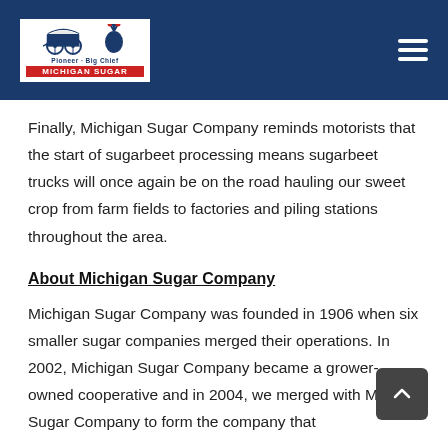[Figure (logo): Pioneer Big Chief Michigan Sugar company logo with covered wagon and Native American chief illustration, white background, red Michigan Sugar banner]
Finally, Michigan Sugar Company reminds motorists that the start of sugarbeet processing means sugarbeet trucks will once again be on the road hauling our sweet crop from farm fields to factories and piling stations throughout the area.
About Michigan Sugar Company
Michigan Sugar Company was founded in 1906 when six smaller sugar companies merged their operations. In 2002, Michigan Sugar Company became a grower-owned cooperative and in 2004, we merged with Monitor Sugar Company to form the company that